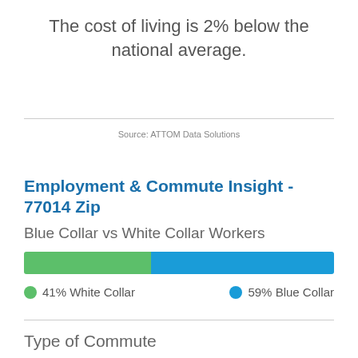The cost of living is 2% below the national average.
Source: ATTOM Data Solutions
Employment & Commute Insight - 77014 Zip
Blue Collar vs White Collar Workers
[Figure (stacked-bar-chart): Blue Collar vs White Collar Workers]
Type of Commute